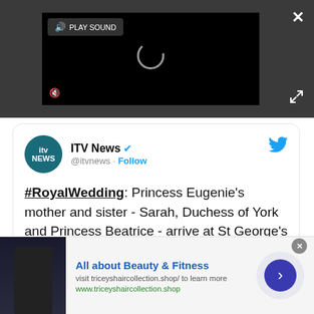[Figure (screenshot): Video player with black background, loading spinner, PLAY SOUND button, mute icon, close button (X) and expand/fullscreen button]
ITV News @itvnews · Follow
#RoyalWedding: Princess Eugenie's mother and sister - Sarah, Duchess of York and Princess Beatrice - arrive at St George's Chapel in Windsor ahead of the wedding at 11am.
[Figure (infographic): Advertisement banner: All about Beauty & Fitness. visit triceyshaircollection.shop/ to learn more. www.triceyshaircollection.shop]